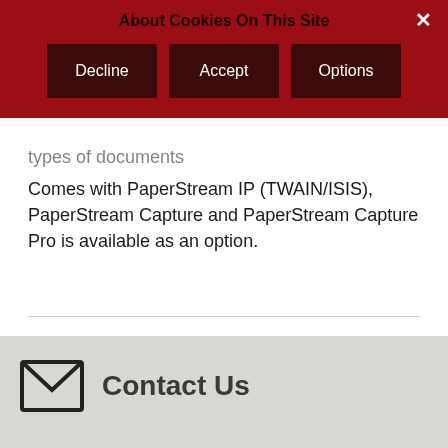About Cookies On This Site
types of documents
Comes with PaperStream IP (TWAIN/ISIS), PaperStream Capture and PaperStream Capture Pro is available as an option.
Contact Us